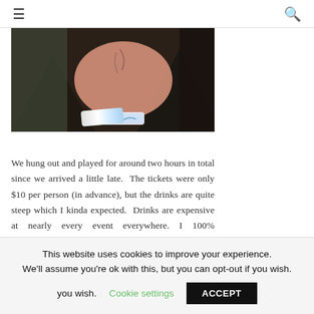≡  🔍
[Figure (photo): A person's arm with a wristband/bracelet, photographed in a dark venue setting with blurred background]
We hung out and played for around two hours in total since we arrived a little late.  The tickets were only $10 per person (in advance), but the drinks are quite steep which I kinda expected.  Drinks are expensive at nearly every event everywhere. I 100% recommend
This website uses cookies to improve your experience. We'll assume you're ok with this, but you can opt-out if you wish.  Cookie settings  ACCEPT